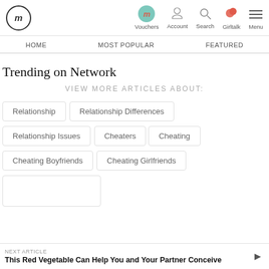Vouchers | Account | Search | Girltalk | Menu
HOME   MOST POPULAR   FEATURED
Trending on Network
VIEW MORE ARTICLES ABOUT:
Relationship
Relationship Differences
Relationship Issues
Cheaters
Cheating
Cheating Boyfriends
Cheating Girlfriends
NEXT ARTICLE
This Red Vegetable Can Help You and Your Partner Conceive